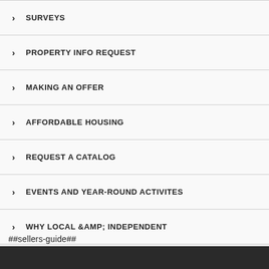SURVEYS
PROPERTY INFO REQUEST
MAKING AN OFFER
AFFORDABLE HOUSING
REQUEST A CATALOG
EVENTS AND YEAR-ROUND ACTIVITES
WHY LOCAL &AMP; INDEPENDENT
##sellers-guide##